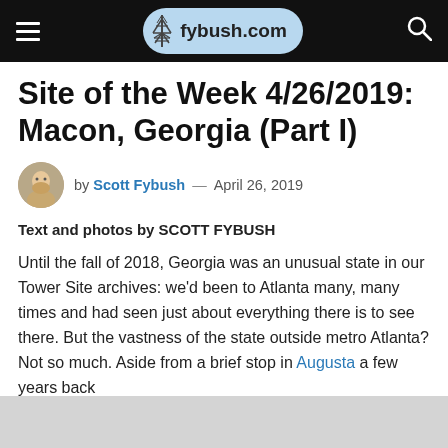fybush.com
Site of the Week 4/26/2019: Macon, Georgia (Part I)
by Scott Fybush — April 26, 2019
Text and photos by SCOTT FYBUSH
Until the fall of 2018, Georgia was an unusual state in our Tower Site archives: we'd been to Atlanta many, many times and had seen just about everything there is to see there. But the vastness of the state outside metro Atlanta? Not so much. Aside from a brief stop in Augusta a few years back